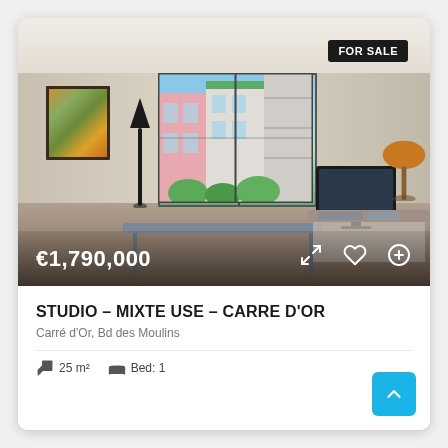[Figure (photo): Interior photo of a studio apartment showing a living/work space with a table, floor lamp, sliding glass door opening to a balcony with colorful building view, a monitor/desk on the right, and a painting on the wall. 'FOR SALE' badge in top right. Price overlay '€1,790,000' at bottom left. Action icons (expand, heart, plus) at bottom right.]
STUDIO – MIXTE USE – CARRE D'OR
Carré d'Or, Bd des Moulins
25 m²   Bed: 1